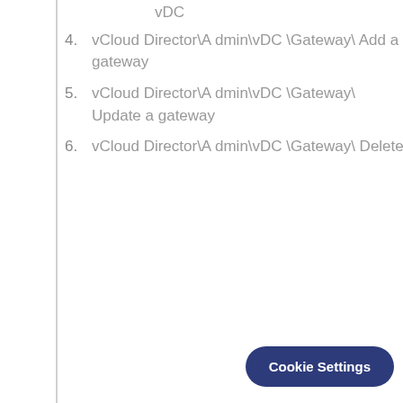vDC
4. vCloud Director\Admin\vDC\Gateway\ Add a gateway
5. vCloud Director\Admin\vDC\Gateway\ Update a gateway
6. vCloud Director\Admin\vDC\Gateway\ Delete